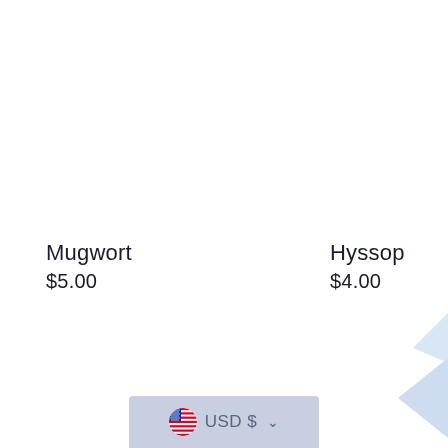Mugwort
$5.00
Hyssop
$4.00
[Figure (screenshot): Currency selector bar showing US flag icon, USD $ text, and a chevron dropdown arrow, on a light blue-grey background]
[Figure (illustration): Light blue geometric diamond/triangle shapes in the bottom right corner]